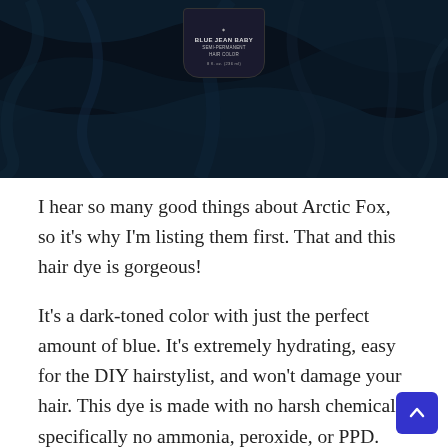[Figure (photo): Product photo of Arctic Fox Blue Jean Baby semi-permanent hair color bottle (8 fl. oz. / 236 ml) against a dark background with swirling dark blue hair.]
I hear so many good things about Arctic Fox, so it's why I'm listing them first. That and this hair dye is gorgeous!
It's a dark-toned color with just the perfect amount of blue. It's extremely hydrating, easy for the DIY hairstylist, and won't damage your hair. This dye is made with no harsh chemicals, specifically no ammonia, peroxide, or PPD.
While you should lighten your hair before using this dye, you don't have to lighten your hair too drastically. For example,